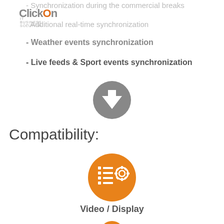ClickOn IT Business Solution
- Synchronization during the commercial breaks
- Additional real-time synchronization
- Weather events synchronization
- Live feeds & Sport events synchronization
[Figure (illustration): Gray circle with white downward arrow icon]
Compatibility:
[Figure (illustration): Orange circle with white checklist and gear icon]
Video / Display
[Figure (illustration): Partial orange circle visible at bottom of page]